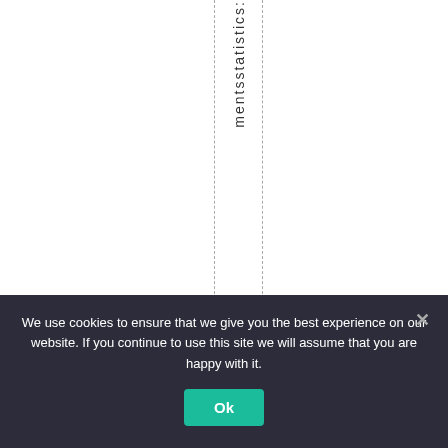[Figure (other): Vertical rotated text reading 'mentsstatistics:' displayed letter by letter along a vertical axis, with dashed vertical guide lines on either side. A bracket opens at the bottom leading to 'Unemployment Rates (' text. This appears to be a partial view of a webpage header/sidebar element.]
Unemployment Rates (
We use cookies to ensure that we give you the best experience on our website. If you continue to use this site we will assume that you are happy with it.